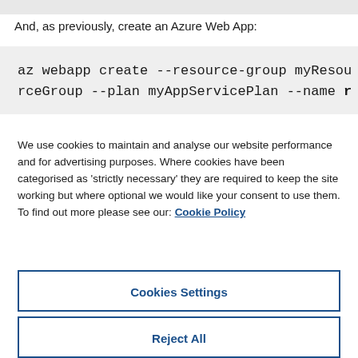And, as previously, create an Azure Web App:
az webapp create --resource-group myResourceGroup --plan myAppServicePlan --name r
We use cookies to maintain and analyse our website performance and for advertising purposes. Where cookies have been categorised as 'strictly necessary' they are required to keep the site working but where optional we would like your consent to use them. To find out more please see our: Cookie Policy
Cookies Settings
Reject All
Accept All Cookies